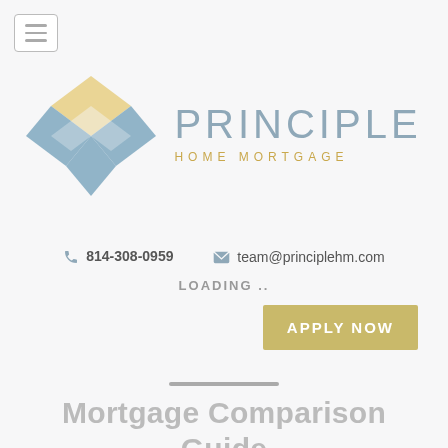[Figure (logo): Principle Home Mortgage logo: diamond/chevron shape in yellow and steel blue tiles, with text PRINCIPLE HOME MORTGAGE]
📞 814-308-0959   ✉ team@principlehm.com
LOADING..
APPLY NOW
Mortgage Comparison Guide